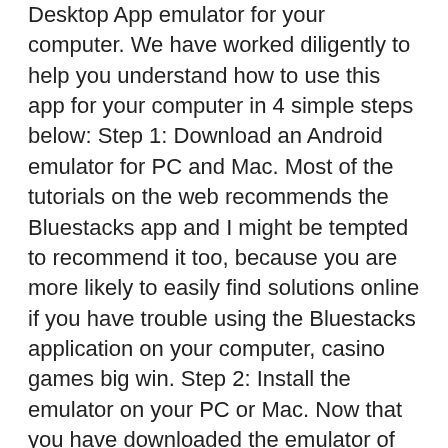Desktop App emulator for your computer. We have worked diligently to help you understand how to use this app for your computer in 4 simple steps below: Step 1: Download an Android emulator for PC and Mac. Most of the tutorials on the web recommends the Bluestacks app and I might be tempted to recommend it too, because you are more likely to easily find solutions online if you have trouble using the Bluestacks application on your computer, casino games big win. Step 2: Install the emulator on your PC or Mac. Now that you have downloaded the emulator of your choice, go to the Downloads folder on your computer to locate the emulator or Bluestacks application. Lightning link casino free slots games, casino games big win. Play classic casino games for free: The best slot games and brands make this app pop, free online casino app. We deliver high-end, next level gaming to the slots market. Proven